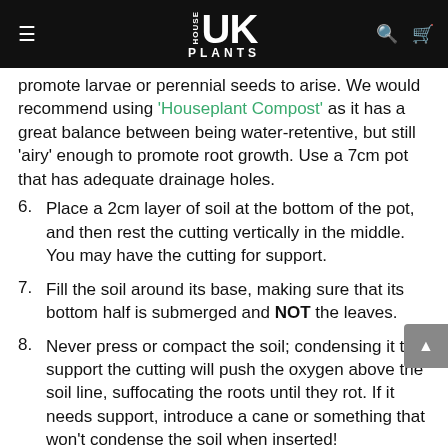HOUSE UK PLANTS
promote larvae or perennial seeds to arise. We would recommend using 'Houseplant Compost' as it has a great balance between being water-retentive, but still 'airy' enough to promote root growth. Use a 7cm pot that has adequate drainage holes.
6. Place a 2cm layer of soil at the bottom of the pot, and then rest the cutting vertically in the middle. You may have the cutting for support.
7. Fill the soil around its base, making sure that its bottom half is submerged and NOT the leaves.
8. Never press or compact the soil; condensing it to support the cutting will push the oxygen above the soil line, suffocating the roots until they rot. If it needs support, introduce a cane or something that won't condense the soil when inserted!
9. Place the potted cutting in a transparent bag or box. Because of the lack of roots, it'll start to lose stored water very quickly. A confided environment